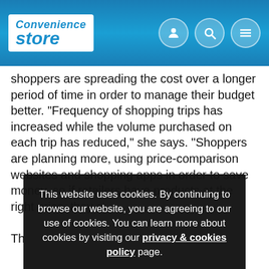Convenience Store
shoppers are spreading the cost over a longer period of time in order to manage their budget better. "Frequency of shopping trips has increased while the volume purchased on each trip has reduced," she says. "Shoppers are planning more, using price-comparison websites and shopping apps in order to save money, so if retailers have products at the right price, they st[and]...
Th[...] ... sales will provide the majority of spend over the Christmas season, so it is important for retailers to choose their festive
This website uses cookies. By continuing to browse our website, you are agreeing to our use of cookies. You can learn more about cookies by visiting our privacy & cookies policy page. OK